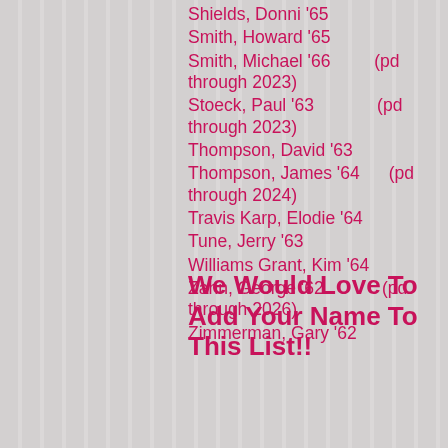Shields, Donni '65
Smith, Howard '65
Smith, Michael '66          (pd through 2023)
Stoeck, Paul '63              (pd through 2023)
Thompson, David '63
Thompson, James '64       (pd through 2024)
Travis Karp, Elodie '64
Tune, Jerry '63
Williams Grant, Kim '64
Zahn, George '62              (pd through 2026)
Zimmerman, Gary '62
We Would Love To Add Your Name To This List!!